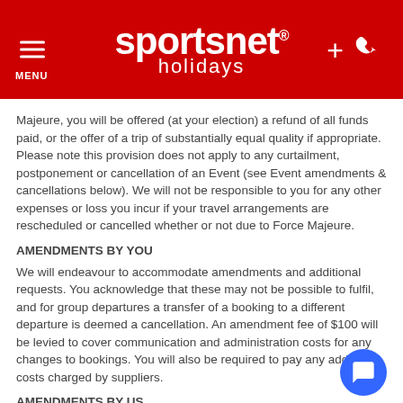sportsnet holidays
Majeure, you will be offered (at your election) a refund of all funds paid, or the offer of a trip of substantially equal quality if appropriate. Please note this provision does not apply to any curtailment, postponement or cancellation of an Event (see Event amendments & cancellations below). We will not be responsible to you for any other expenses or loss you incur if your travel arrangements are rescheduled or cancelled whether or not due to Force Majeure.
AMENDMENTS BY YOU
We will endeavour to accommodate amendments and additional requests. You acknowledge that these may not be possible to fulfil, and for group departures a transfer of a booking to a different departure is deemed a cancellation. An amendment fee of $100 will be levied to cover communication and administration costs for any changes to bookings. You will also be required to pay any additional costs charged by suppliers.
AMENDMENTS BY US
Prior to travel